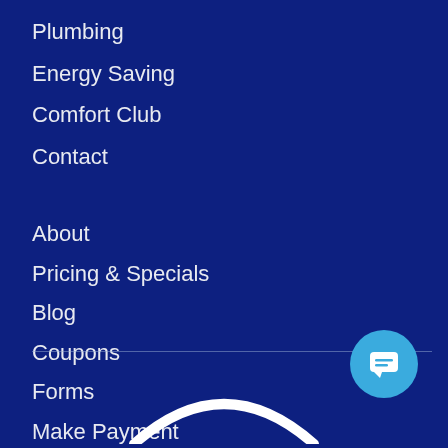Plumbing
Energy Saving
Comfort Club
Contact
About
Pricing & Specials
Blog
Coupons
Forms
Make Payment
FAQ
[Figure (illustration): Chat button icon (light blue circle with speech bubble/message icon) and a partial white arc logo at the bottom center]